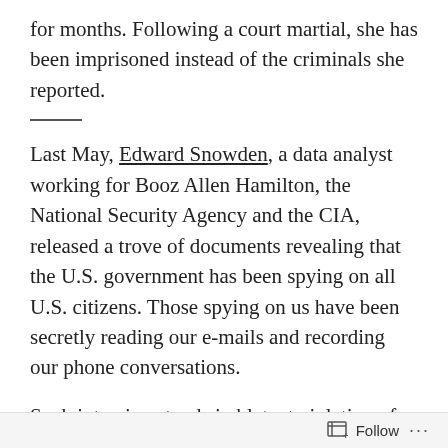for months. Following a court martial, she has been imprisoned instead of the criminals she reported.
Last May, Edward Snowden, a data analyst working for Booz Allen Hamilton, the National Security Agency and the CIA, released a trove of documents revealing that the U.S. government has been spying on all U.S. citizens. Those spying on us have been secretly reading our e-mails and recording our phone conversations.
Such intrusion stands in blatant violation of the Fourth Amendment of the U.S. constitution which reads: “The right of the people to be secure in their persons, houses, papers, and effects, against unreasonable searches and seizures, shall not be
Follow ...